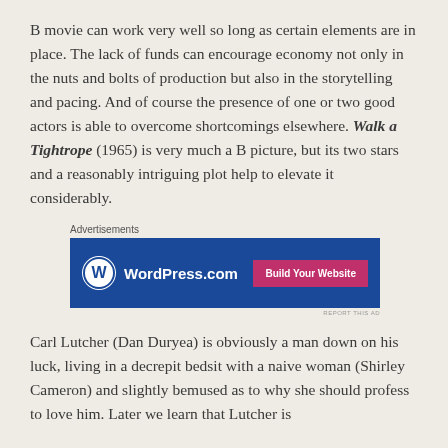B movie can work very well so long as certain elements are in place. The lack of funds can encourage economy not only in the nuts and bolts of production but also in the storytelling and pacing. And of course the presence of one or two good actors is able to overcome shortcomings elsewhere. Walk a Tightrope (1965) is very much a B picture, but its two stars and a reasonably intriguing plot help to elevate it considerably.
Advertisements
[Figure (other): WordPress.com advertisement banner with blue background, WordPress logo on the left, and a pink 'Build Your Website' button on the right]
Carl Lutcher (Dan Duryea) is obviously a man down on his luck, living in a decrepit bedsit with a naive woman (Shirley Cameron) and slightly bemused as to why she should profess to love him. Later we learn that Lutcher is